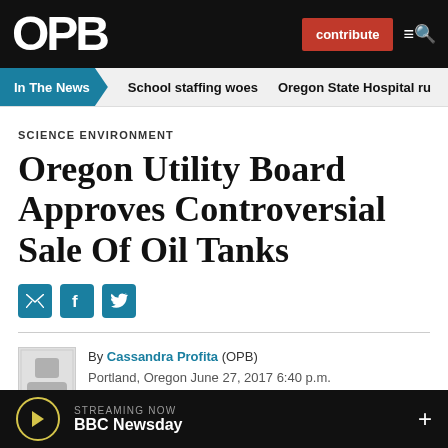OPB | contribute
In The News | School staffing woes | Oregon State Hospital ru
SCIENCE ENVIRONMENT
Oregon Utility Board Approves Controversial Sale Of Oil Tanks
By Cassandra Profita (OPB)
Portland, Oregon June 27, 2017 6:40 p.m.
STREAMING NOW BBC Newsday